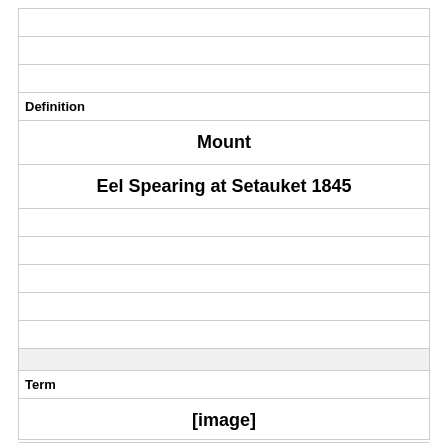|  |
|  |
|  |
| Definition |
| Mount |
| Eel Spearing at Setauket 1845 |
|  |
|  |
|  |
|  |
|  |
|  |
| Term |
| [image] |
|  |
|  |